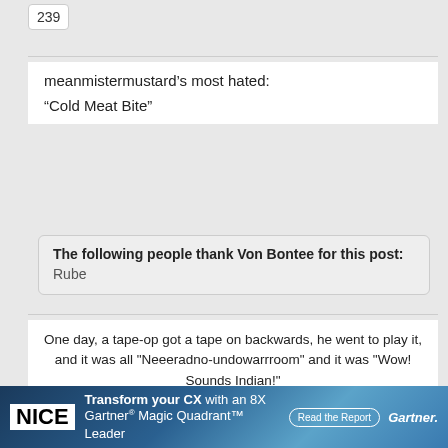239
meanmistermustard’s most hated:
“Cold Meat Bite”
The following people thank Von Bontee for this post:
Rube
One day, a tape-op got a tape on backwards, he went to play it, and it was all "Neeeradno-undowarrroom" and it was "Wow! Sounds Indian!"
-- Paul McCartney
[Figure (other): Three decorative emoji/icons (shield-like badges)]
[Figure (other): Advertisement banner: NICE - Transform your CX with an 8X Gartner Magic Quadrant Leader. Read the Report button. Gartner logo.]